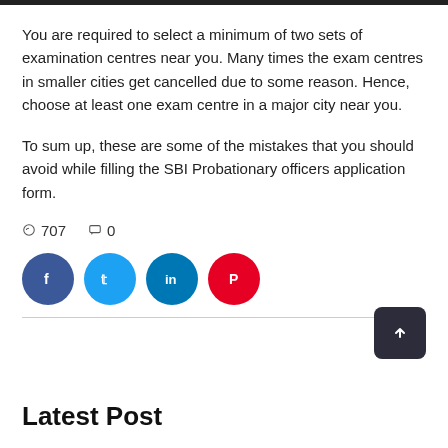You are required to select a minimum of two sets of examination centres near you. Many times the exam centres in smaller cities get cancelled due to some reason. Hence, choose at least one exam centre in a major city near you.
To sum up, these are some of the mistakes that you should avoid while filling the SBI Probationary officers application form.
🗨 707   🏳 0
[Figure (other): Social sharing buttons: Facebook (blue), Twitter (light blue), LinkedIn (dark blue), Pinterest (red), each as circular icons with white symbols. A dark rectangular scroll-to-top button on the right.]
Latest Post